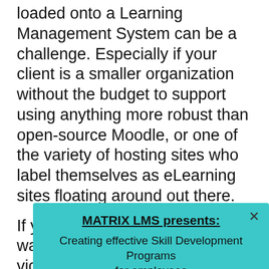loaded onto a Learning Management System can be a challenge. Especially if your client is a smaller organization without the budget to support using anything more robust than open-source Moodle, or one of the variety of hosting sites who label themselves as eLearning sites floating around out there.
If your organization or client wants you to deliver a training video with no interaction, then you are good to go with pretty much every Learning Management System and pseudo- Learning Management System out there. But adding any level of interaction, or a...
[Figure (infographic): A teal/cyan popup modal box with a close X button. Title reads 'MATRIX LMS presents:' (bold, underlined). Subtitle reads 'Creating effective Skill Development Programs for employees'. Orange button at bottom reads 'REGISTER NOW!'.]